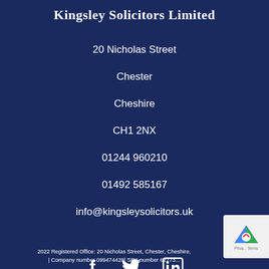Kingsley Solicitors Limited
20 Nicholas Street
Chester
Cheshire
CH1 2NX
01244 960210
01492 585167
info@kingsleysolicitors.uk
[Figure (illustration): Social media icons: Facebook, Twitter, LinkedIn]
2022 Registered Office: 20 Nicholas Street, Chester, Cheshire, | Company number 099474428| SRA number 62773...